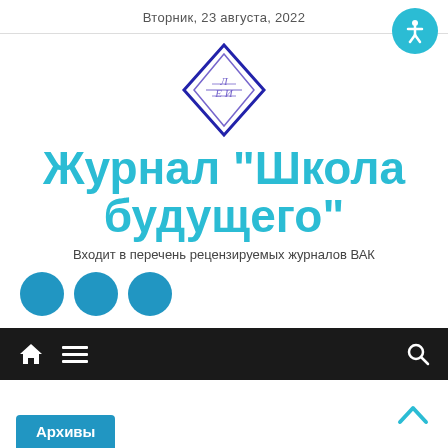Вторник, 23 августа, 2022
[Figure (logo): Diamond-shaped logo with letters ЛЕИ inside, dark blue outline]
Журнал "Школа будущего"
Входит в перечень рецензируемых журналов ВАК
[Figure (infographic): Three teal/blue circles representing social media icons]
Navigation bar with home icon, menu icon, and search icon
Архивы